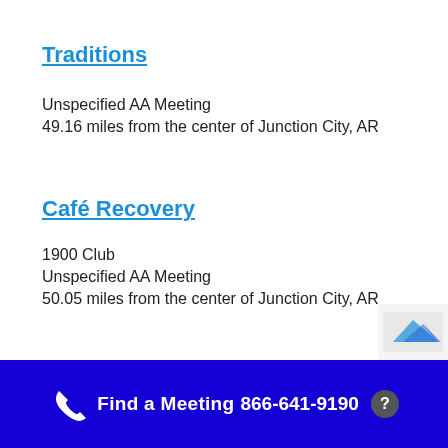Traditions
Unspecified AA Meeting
49.16 miles from the center of Junction City, AR
Café Recovery
1900 Club
Unspecified AA Meeting
50.05 miles from the center of Junction City, AR
Find a Meeting  866-641-9190